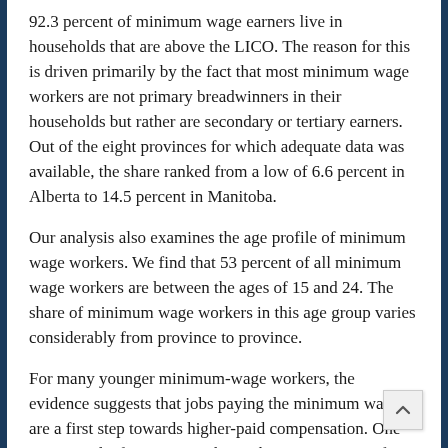92.3 percent of minimum wage earners live in households that are above the LICO. The reason for this is driven primarily by the fact that most minimum wage workers are not primary breadwinners in their households but rather are secondary or tertiary earners. Out of the eight provinces for which adequate data was available, the share ranked from a low of 6.6 percent in Alberta to 14.5 percent in Manitoba.
Our analysis also examines the age profile of minimum wage workers. We find that 53 percent of all minimum wage workers are between the ages of 15 and 24. The share of minimum wage workers in this age group varies considerably from province to province.
For many younger minimum-wage workers, the evidence suggests that jobs paying the minimum wage are a first step towards higher-paid compensation. One recent study, for instance, shows that 46.4 percent of minimum wage workers had been in their job for less than a year. Finally, our data show that just 2.2 percent of minimum wage workers are single parents with a child or children under the age of 18.